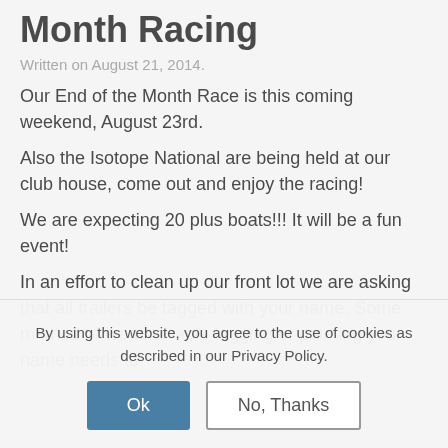Month Racing
Written on August 21, 2014.
Our End of the Month Race is this coming weekend, August 23rd.
Also the Isotope National are being held at our club house, come out and enjoy the racing!
We are expecting 20 plus boats!!! It will be a fun event!
In an effort to clean up our front lot we are asking that all trailers be tagged with your name. Some method of weather-able tagging or painting your name needs to
By using this website, you agree to the use of cookies as described in our Privacy Policy.